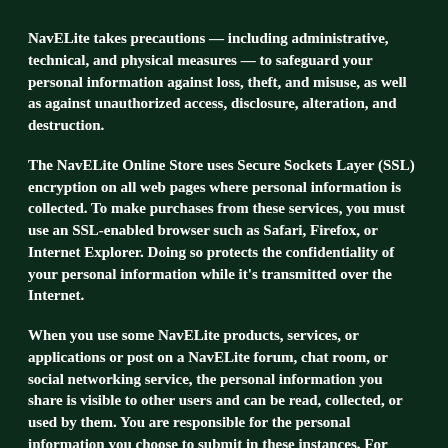NavELite takes precautions — including administrative, technical, and physical measures — to safeguard your personal information against loss, theft, and misuse, as well as against unauthorized access, disclosure, alteration, and destruction.
The NavELite Online Store uses Secure Sockets Layer (SSL) encryption on all web pages where personal information is collected. To make purchases from these services, you must use an SSL-enabled browser such as Safari, Firefox, or Internet Explorer. Doing so protects the confidentiality of your personal information while it's transmitted over the Internet.
When you use some NavELite products, services, or applications or post on a NavELite forum, chat room, or social networking service, the personal information you share is visible to other users and can be read, collected, or used by them. You are responsible for the personal information you choose to submit in these instances. For example, if you list your name and email address in a forum posting, that information is public. Please take care when using these features.